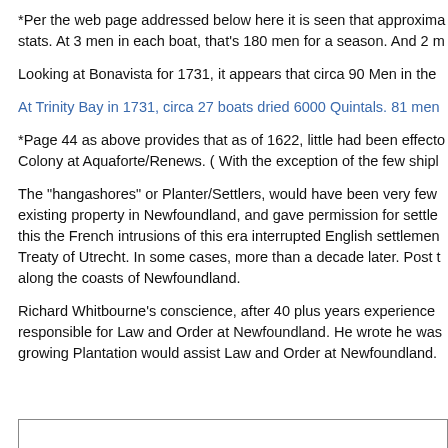*Per the web page addressed below here it is seen that approxima stats. At 3 men in each boat, that's 180 men for a season. And 2 m
Looking at Bonavista for 1731, it appears that circa 90 Men in the
At Trinity Bay in 1731, circa 27 boats dried 6000 Quintals. 81 men
*Page 44 as above provides that as of 1622, little had been effecto Colony at Aquaforte/Renews. ( With the exception of the few shipl
The "hangashores" or Planter/Settlers, would have been very few existing property in Newfoundland, and gave permission for settle this the French intrusions of this era interrupted English settlemen Treaty of Utrecht. In some cases, more than a decade later. Post t along the coasts of Newfoundland.
Richard Whitbourne's conscience, after 40 plus years experience responsible for Law and Order at Newfoundland. He wrote he was growing Plantation would assist Law and Order at Newfoundland.